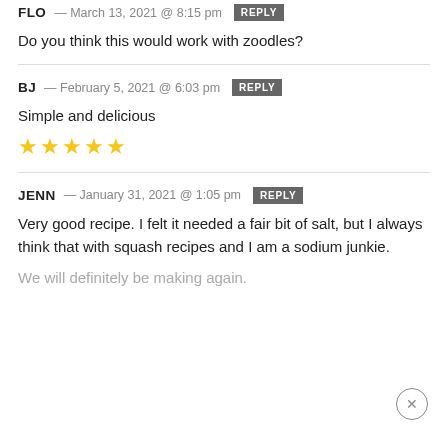FLO — March 13, 2021 @ 8:15 pm REPLY
Do you think this would work with zoodles?
BJ — February 5, 2021 @ 6:03 pm REPLY
Simple and delicious
★★★★★
JENN — January 31, 2021 @ 1:05 pm REPLY
Very good recipe. I felt it needed a fair bit of salt, but I always think that with squash recipes and I am a sodium junkie.
We will definitely be making again.